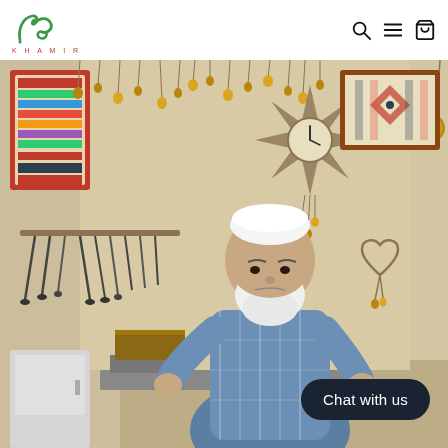[Figure (logo): Khamir logo - green stylized calligraphic mark above the text KHAMIR in red spaced letters]
[Figure (photo): An elderly bearded man wearing a white taqiyah (skullcap) and blue plaid shirt sits in a workshop/store. He holds a small clay or metal pot. Behind him on cream-colored walls hang various brass bells on chains, metal tools on a rack, a decorative star-shaped clock with hanging bells, a framed textile artwork, and other decorative metalwork items. He appears to be an artisan.]
Chat with us